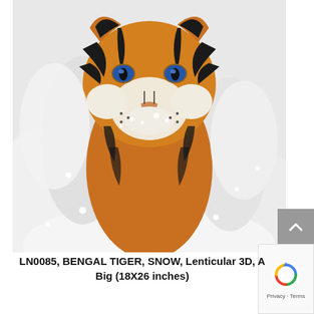[Figure (photo): Close-up photograph of a Bengal tiger walking through snow, looking directly at the camera with striking blue eyes. The tiger's orange and black striped fur contrasts with the white snow surrounding it.]
LN0085, BENGAL TIGER, SNOW, Lenticular 3D, A Big (18X26 inches)